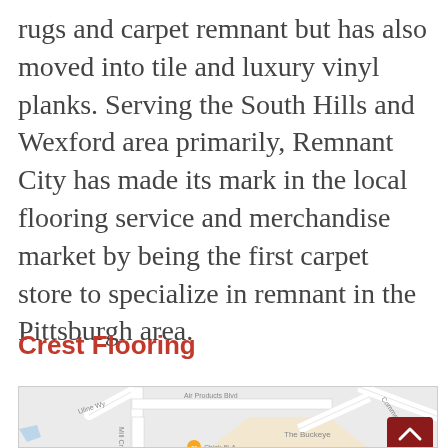rugs and carpet remnant but has also moved into tile and luxury vinyl planks. Serving the South Hills and Wexford area primarily, Remnant City has made its mark in the local flooring service and merchandise market by being the first carpet store to specialize in remnant in the Pittsburgh area.
Crest Flooring
[Figure (map): Google Maps screenshot showing street map with Mill Creek Rd, Uline Wy, Air Products Blvd, Commerce Ctr, The Buckeye, and Chick-fil-A markers visible.]